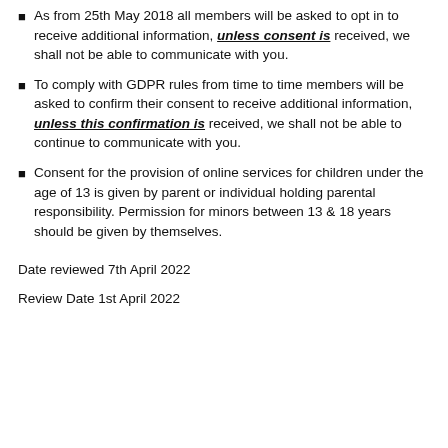As from 25th May 2018 all members will be asked to opt in to receive additional information, unless consent is received, we shall not be able to communicate with you.
To comply with GDPR rules from time to time members will be asked to confirm their consent to receive additional information, unless this confirmation is received, we shall not be able to continue to communicate with you.
Consent for the provision of online services for children under the age of 13 is given by parent or individual holding parental responsibility. Permission for minors between 13 & 18 years should be given by themselves.
Date reviewed 7th April 2022
Review Date 1st April 2022